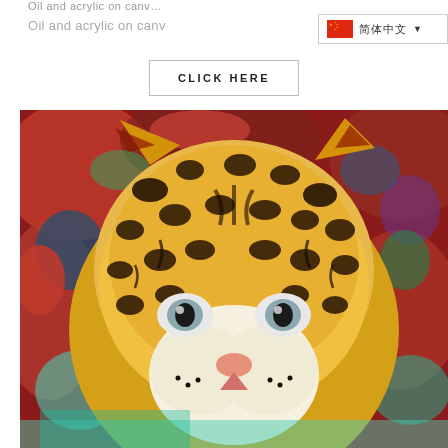Oil and acrylic on canv...
CLICK HERE
[Figure (illustration): Colorful oil and acrylic painting of a leopard's face with vibrant multicolored abstract background in reds, blues, greens, and purples. The leopard has golden-yellow fur with black spots and piercing blue-grey eyes, facing the viewer directly.]